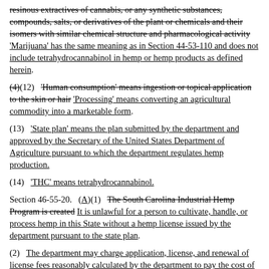resinous extractives of cannabis, or any synthetic substances, compounds, salts, or derivatives of the plant or chemicals and their isomers with similar chemical structure and pharmacological activity 'Marijuana' has the same meaning as in Section 44-53-110 and does not include tetrahydrocannabinol in hemp or hemp products as defined herein.
(4)(12)   'Human consumption' means ingestion or topical application to the skin or hair 'Processing' means converting an agricultural commodity into a marketable form.
(13)   'State plan' means the plan submitted by the department and approved by the Secretary of the United States Department of Agriculture pursuant to which the department regulates hemp production.
(14)   'THC' means tetrahydrocannabinol.
Section 46-55-20.   (A)(1)   The South Carolina Industrial Hemp Program is created It is unlawful for a person to cultivate, handle, or process hemp in this State without a hemp license issued by the department pursuant to the state plan.
(2)   The department may charge application, license, and renewal of license fees reasonably calculated by the department to pay the cost of administering this chapter. Licensing fees for cultivators